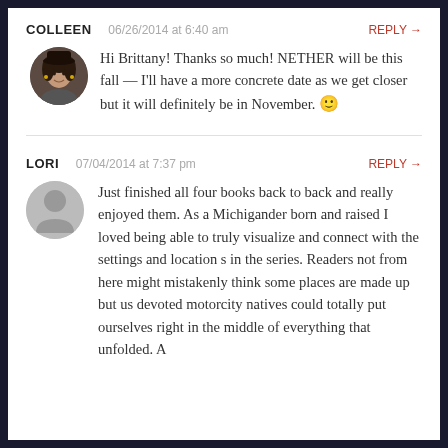COLLEEN  06/26/2014 at 6:40 am  REPLY →
Hi Brittany! Thanks so much! NETHER will be this fall — I'll have a more concrete date as we get closer but it will definitely be in November. 🙂
LORI  07/04/2014 at 7:37 pm  REPLY →
Just finished all four books back to back and really enjoyed them. As a Michigander born and raised I loved being able to truly visualize and connect with the settings and location s in the series. Readers not from here might mistakenly think some places are made up but us devoted motorcity natives could totally put ourselves right in the middle of everything that unfolded. A